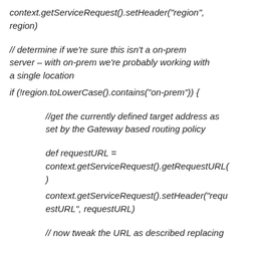context.getServiceRequest().setHeader('region', region)
// determine if we're sure this isn't a on-prem server – with on-prem we're probably working with a single location
if (!region.toLowerCase().contains("on-prem")) {
//get the currently defined target address as set by the Gateway based routing policy
def requestURL = context.getServiceRequest().getRequestURL()
context.getServiceRequest().setHeader("requestURL", requestURL)
// now tweak the URL as described replacing